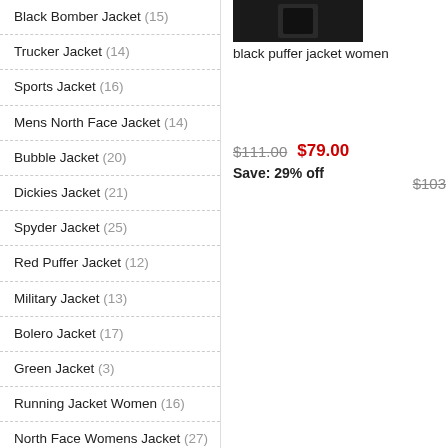Black Bomber Jacket (15)
Trucker Jacket (14)
Sports Jacket (16)
Mens North Face Jacket (14)
Bubble Jacket (20)
Dickies Jacket (21)
Spyder Jacket (25)
Red Puffer Jacket (12)
Military Jacket (13)
Bolero Jacket (17)
Green Jacket (3)
Running Jacket Women (16)
North Face Womens Jacket (27)
Long Jacket (17)
Beige Puffer Jacket (20)
Leather Bomber Jacket (15)
[Figure (photo): Black puffer jacket women product thumbnail]
black puffer jacket women
$111.00  $79.00  Save: 29% off  $103